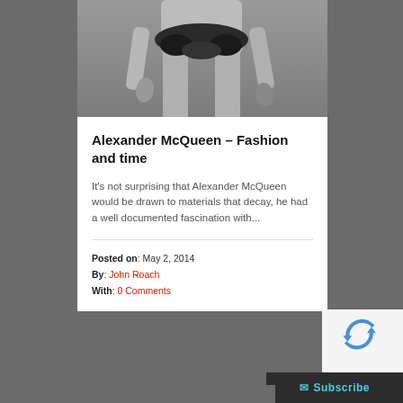[Figure (photo): Fashion photo showing lower torso of a figure wearing a dark feathered/leaf skirt, monochrome style, arms at sides]
Alexander McQueen – Fashion and time
It's not surprising that Alexander McQueen would be drawn to materials that decay, he had a well documented fascination with...
Posted on: May 2, 2014
By: John Roach
With: 0 Comments